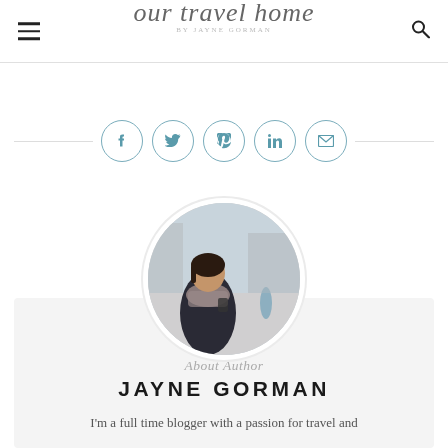our travel home BY JAYNE GORMAN
[Figure (infographic): Social media icons in circles: Facebook, Twitter, Pinterest, LinkedIn, Email, with horizontal lines on each side]
[Figure (photo): Circular cropped photo of Jayne Gorman, a woman with dark hair wearing a scarf and leather jacket, looking at her phone on a city street]
About Author
JAYNE GORMAN
I'm a full time blogger with a passion for travel and